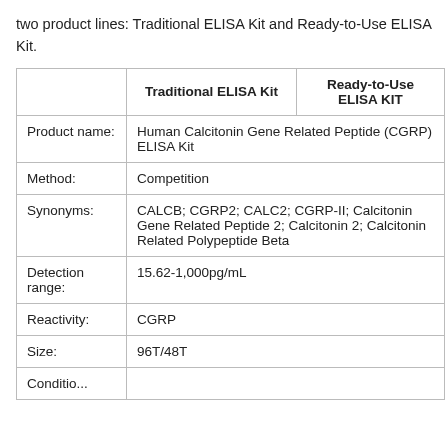two product lines: Traditional ELISA Kit and Ready-to-Use ELISA Kit.
|  | Traditional ELISA Kit | Ready-to-Use ELISA KIT |
| --- | --- | --- |
| Product name: | Human Calcitonin Gene Related Peptide (CGRP) ELISA Kit |  |
| Method: | Competition |  |
| Synonyms: | CALCB; CGRP2; CALC2; CGRP-II; Calcitonin Gene Related Peptide 2; Calcitonin 2; Calcitonin Related Polypeptide Beta |  |
| Detection range: | 15.62-1,000pg/mL |  |
| Reactivity: | CGRP |  |
| Size: | 96T/48T |  |
| Conditio... |  |  |